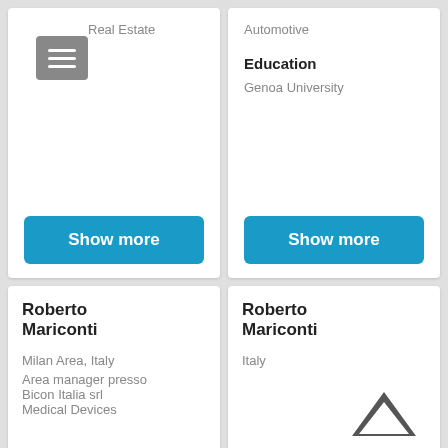Real Estate
[Figure (screenshot): Hamburger menu icon button (three horizontal white lines on gray background)]
Show more
Automotive
Education
Genoa University
Show more
Roberto Mariconti
Milan Area, Italy
Area manager presso
Bicon Italia srl
Medical Devices
Roberto Mariconti
Italy
[Figure (illustration): Chevron/caret up arrow icon in dark gray]